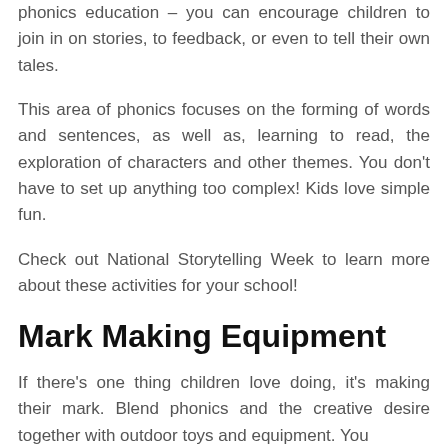phonics education – you can encourage children to join in on stories, to feedback, or even to tell their own tales.
This area of phonics focuses on the forming of words and sentences, as well as, learning to read, the exploration of characters and other themes. You don't have to set up anything too complex! Kids love simple fun.
Check out National Storytelling Week to learn more about these activities for your school!
Mark Making Equipment
If there's one thing children love doing, it's making their mark. Blend phonics and the creative desire together with outdoor toys and equipment. You